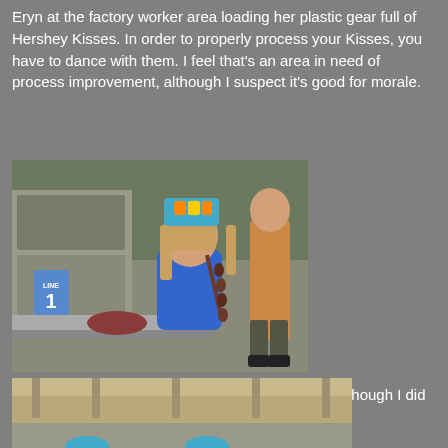Eryn at the factory worker area loading her plastic gear full of Hershey Kisses. In order to properly process your Kisses, you have to dance with them. I feel that’s an area in need of process improvement, although I suspect it's good for morale.
[Figure (photo): A young girl wearing a blue t-shirt and a colorful blue/orange paper hat stands at a factory assembly line (LINE 1), holding a string of Hershey Kisses. Factory machinery and workers visible in background.]
Taking my turn as a factory worker. I wore the hat, though I did not dance.
[Figure (photo): Partial view of a factory area with overhead equipment and blue-hatted workers visible at the bottom of the frame.]